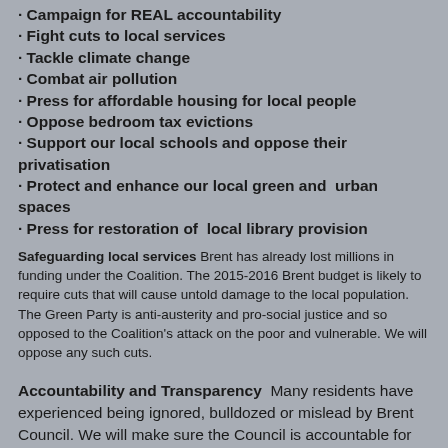· Campaign for REAL accountability
· Fight cuts to local services
· Tackle climate change
· Combat air pollution
· Press for affordable housing for local people
· Oppose bedroom tax evictions
· Support our local schools and oppose their privatisation
· Protect and enhance our local green and  urban spaces
· Press for restoration of  local library provision
Safeguarding local services Brent has already lost millions in funding under the Coalition. The 2015-2016 Brent budget is likely to require cuts that will cause untold damage to the local population. The Green Party is anti-austerity and pro-social justice and so opposed to the Coalition's attack on the poor and vulnerable. We will oppose any such cuts.
Accountability and Transparency  Many residents have experienced being ignored, bulldozed or mislead by Brent Council. We will make sure the Council is accountable for its actions and transparent in its dealings with the public. We've